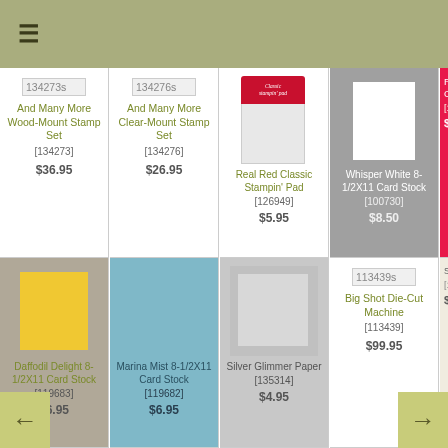≡ (hamburger menu icon)
And Many More Wood-Mount Stamp Set [134273] $36.95
And Many More Clear-Mount Stamp Set [134276] $26.95
Real Red Classic Stampin' Pad [126949] $5.95
Whisper White 8-1/2X11 Card Stock [100730] $8.50
Real Red Card [10...] $...
Daffodil Delight 8-1/2X11 Card Stock [119683] $6.95
Marina Mist 8-1/2X11 Card Stock [119682] $6.95
Silver Glimmer Paper [135314] $4.95
Big Shot Die-Cut Machine [113439] $99.95
Stars Fr [13...] $2...
Bitty Banners [129267]
Marina Mist 3/4" [130016]